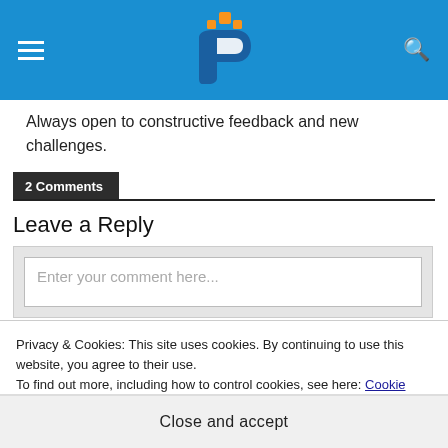[Figure (logo): Website logo with orange squares and blue 'P' letter on blue header bar]
Always open to constructive feedback and new challenges.
2 Comments
Leave a Reply
Enter your comment here...
Privacy & Cookies: This site uses cookies. By continuing to use this website, you agree to their use.
To find out more, including how to control cookies, see here: Cookie Policy
Close and accept